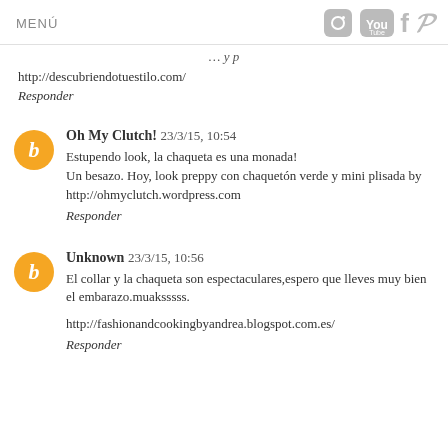MENÚ
http://descubriendotuestilo.com/
Responder
Oh My Clutch!  23/3/15, 10:54
Estupendo look, la chaqueta es una monada!
Un besazo. Hoy, look preppy con chaquetón verde y mini plisada by
http://ohmyclutch.wordpress.com
Responder
Unknown  23/3/15, 10:56
El collar y la chaqueta son espectaculares,espero que lleves muy bien el embarazo.muaksssss.
http://fashionandcookingbyandrea.blogspot.com.es/
Responder